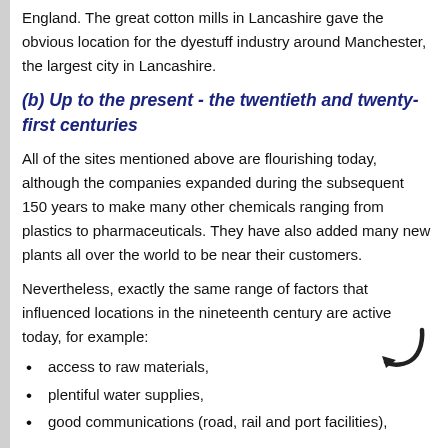England. The great cotton mills in Lancashire gave the obvious location for the dyestuff industry around Manchester, the largest city in Lancashire.
(b) Up to the present - the twentieth and twenty-first centuries
All of the sites mentioned above are flourishing today, although the companies expanded during the subsequent 150 years to make many other chemicals ranging from plastics to pharmaceuticals. They have also added many new plants all over the world to be near their customers.
Nevertheless, exactly the same range of factors that influenced locations in the nineteenth century are active today, for example:
access to raw materials,
plentiful water supplies,
good communications (road, rail and port facilities),
[Figure (illustration): A curved arrow pointing downward and to the left, indicating continuation]